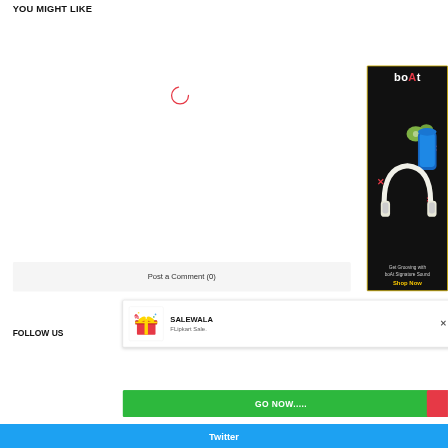YOU MIGHT LIKE
[Figure (screenshot): Loading spinner (red circular arc) indicating content is loading]
[Figure (screenshot): boAt audio products advertisement showing headphones, earbuds, and a speaker on a dark background. Text: 'boAt', 'Get Grooving with boAt Signature Sound', 'Shop Now']
Post a Comment (0)
FOLLOW US
[Figure (screenshot): SALEWALA popup notification with gift icon, title 'SALEWALA', subtitle 'FLipkart Sale.' and close (x) button]
GO NOW.....
Twitter